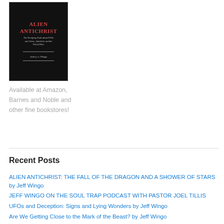[Figure (photo): Book cover of 'Alien Antichrist' by Jeffrey A. Wingo. Black background with red title text and subtitle in italic.]
Available at Amazon, Barnes and Noble and other fine bookstores!
Recent Posts
ALIEN ANTICHRIST: THE FALL OF THE DRAGON AND A SHOWER OF STARS by Jeff Wingo
JEFF WINGO ON THE SOUL TRAP PODCAST WITH PASTOR JOEL TILLIS
UFOs and Deception: Signs and Lying Wonders by Jeff Wingo
Are We Getting Close to the Mark of the Beast? by Jeff Wingo